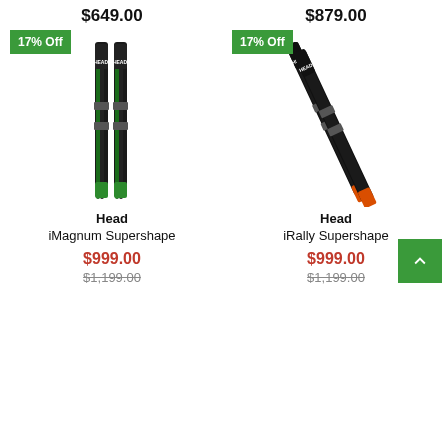$649.00
$879.00
[Figure (photo): Two green and black HEAD iMagnum Supershape skis standing vertically, with a '17% Off' green badge overlay.]
Head
iMagnum Supershape
$999.00
$1,199.00
[Figure (photo): Two black and orange HEAD iRally Supershape skis at an angle, with a '17% Off' green badge overlay.]
Head
iRally Supershape
$999.00
$1,199.00